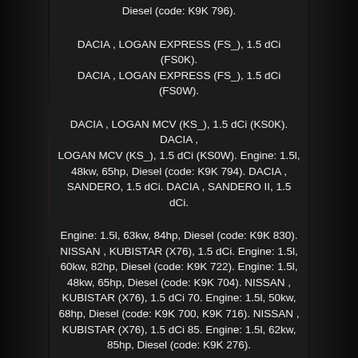Diesel (code: K9K 796).
DACIA , LOGAN EXPRESS (FS_), 1.5 dCi (FS0K). DACIA , LOGAN EXPRESS (FS_), 1.5 dCi (FS0W).
DACIA , LOGAN MCV (KS_), 1.5 dCi (KS0K). DACIA , LOGAN MCV (KS_), 1.5 dCi (KS0W). Engine: 1.5l, 48kw, 65hp, Diesel (code: K9K 794). DACIA , SANDERO, 1.5 dCi. DACIA , SANDERO II, 1.5 dCi.
Engine: 1.5l, 63kw, 84hp, Diesel (code: K9K 830). NISSAN , KUBISTAR (X76), 1.5 dCi. Engine: 1.5l, 60kw, 82hp, Diesel (code: K9K 722). Engine: 1.5l, 48kw, 65hp, Diesel (code: K9K 704). NISSAN , KUBISTAR (X76), 1.5 dCi 70. Engine: 1.5l, 50kw, 68hp, Diesel (code: K9K 700, K9K 716). NISSAN , KUBISTAR (X76), 1.5 dCi 85. Engine: 1.5l, 62kw, 85hp, Diesel (code: K9K 276).
Engine: 1.5l, 42kw, 57hp, Diesel (code: K9K 710, K9K 714). Engine: 1.5l, 45kw, 61hp, Diesel (code: K9K 710, K9K 714). NISSAN , KUBISTAR Box (X80), 1.5 dCi. NISSAN , KUBISTAR Box (X80), 1.5 dCi 70. Engine: 1.5l, 50kw, 68hp, Diesel (code: K9K 716).
NISSAN , MICRA III (K12), 1.5 dCi. Engine: 1.5l, 63kw, 86hp, Diesel (code: K9K 276). Engine: 1.5l, 50kw,